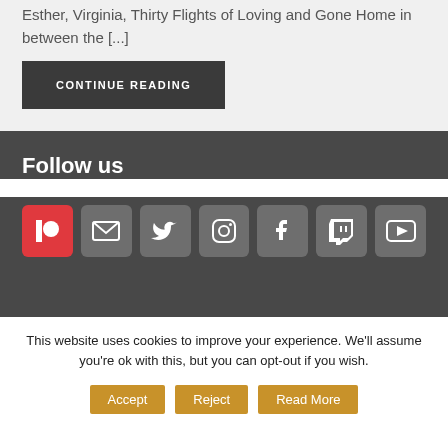Esther, Virginia, Thirty Flights of Loving and Gone Home in between the [...]
CONTINUE READING
Follow us
[Figure (infographic): Social media icons row: Patreon (red), Email (gray), Twitter (gray), Instagram (gray), Facebook (gray), Twitch (gray), YouTube (gray)]
This website uses cookies to improve your experience. We'll assume you're ok with this, but you can opt-out if you wish.
Accept | Reject | Read More